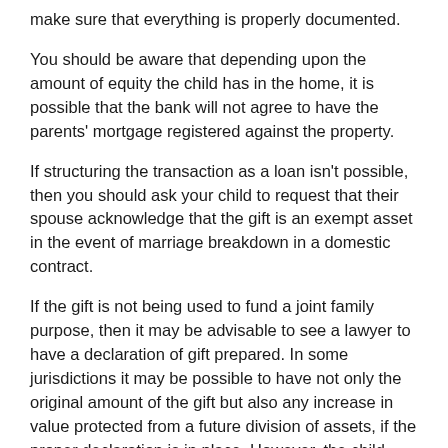make sure that everything is properly documented.
You should be aware that depending upon the amount of equity the child has in the home, it is possible that the bank will not agree to have the parents' mortgage registered against the property.
If structuring the transaction as a loan isn't possible, then you should ask your child to request that their spouse acknowledge that the gift is an exempt asset in the event of marriage breakdown in a domestic contract.
If the gift is not being used to fund a joint family purpose, then it may be advisable to see a lawyer to have a declaration of gift prepared. In some jurisdictions it may be possible to have not only the original amount of the gift but also any increase in value protected from a future division of assets, if the proper declaration is in place. However, the child must ensure that the gifted assets are kept separate and not invested in joint names with their spouse.